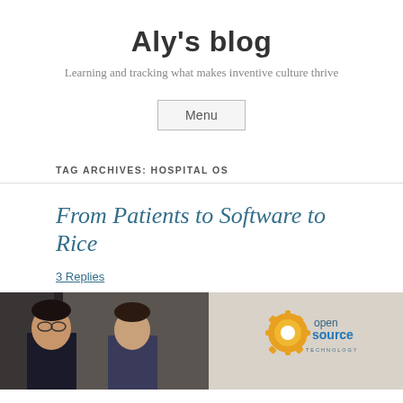Aly's blog
Learning and tracking what makes inventive culture thrive
Menu
TAG ARCHIVES: HOSPITAL OS
From Patients to Software to Rice
3 Replies
[Figure (photo): Two people posing together on the left, and an 'open source technology' logo/sign on the right]